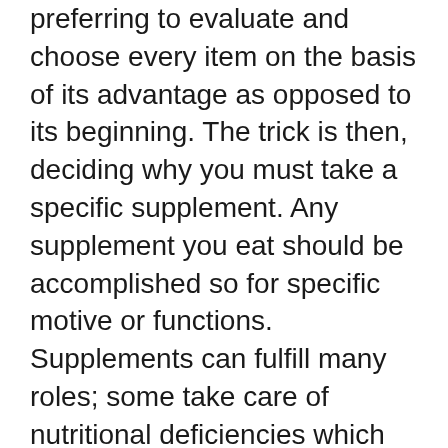preferring to evaluate and choose every item on the basis of its advantage as opposed to its beginning. The trick is then, deciding why you must take a specific supplement. Any supplement you eat should be accomplished so for specific motive or functions. Supplements can fulfill many roles; some take care of nutritional deficiencies which are lacking or would be tough to fulfill in a sensible manner.
Take potassium as an instance, a mean man or woman has a USDA advocated quantity of 3500mg according to day – a completely active person calls for a good deal greater. If you are trying to lose weight and are very lively, eating enough meals to preserve your potassium balance can offset your weight